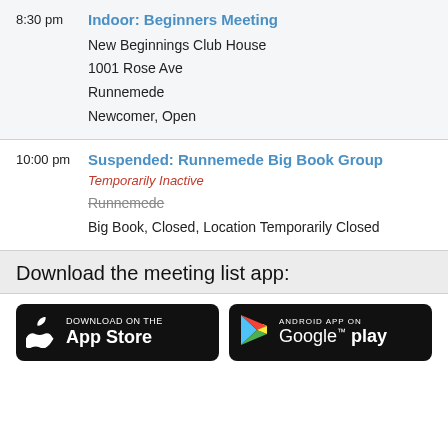8:30 pm — Indoor: Beginners Meeting
New Beginnings Club House
1001 Rose Ave
Runnemede
Newcomer, Open
10:00 pm — Suspended: Runnemede Big Book Group
Temporarily Inactive
Runnemede (strikethrough)
Big Book, Closed, Location Temporarily Closed
Download the meeting list app:
[Figure (other): App Store and Google Play download buttons]
Download on the App Store
ANDROID APP ON Google play